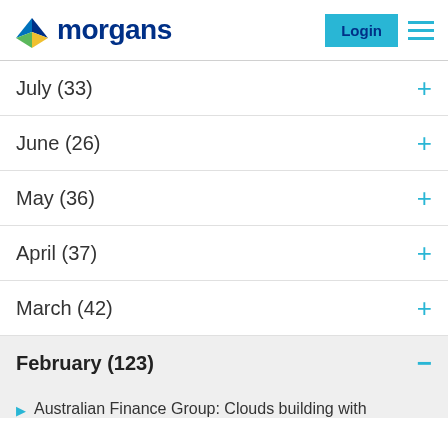morgans — Login
July (33)
June (26)
May (36)
April (37)
March (42)
February (123)
Australian Finance Group: Clouds building with